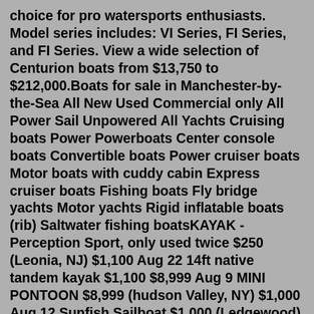choice for pro watersports enthusiasts. Model series includes: VI Series, FI Series, and FI Series. View a wide selection of Centurion boats from $13,750 to $212,000.Boats for sale in Manchester-by-the-Sea All New Used Commercial only All Power Sail Unpowered All Yachts Cruising boats Power Powerboats Center console boats Convertible boats Power cruiser boats Motor boats with cuddy cabin Express cruiser boats Fishing boats Fly bridge yachts Motor yachts Rigid inflatable boats (rib) Saltwater fishing boatsKAYAK - Perception Sport, only used twice $250 (Leonia, NJ) $1,100 Aug 22 14ft native tandem kayak $1,100 $8,999 Aug 9 MINI PONTOON $8,999 (hudson Valley, NY) $1,000 Aug 12 Sunfish Sailboat $1,000 (Ledgewood) $600 Jul 29 NEW BKC RA220 11.5ft Solo Sit on Top Fishing Kayak seat paddle rudder $600 (Hazlet, NJ) Aug 5Portage Lakes Marine is your used boat dealership, offering used boats for sale in Ohio. All of our used and brokered boats obtain an extensive fifty point inspection by our